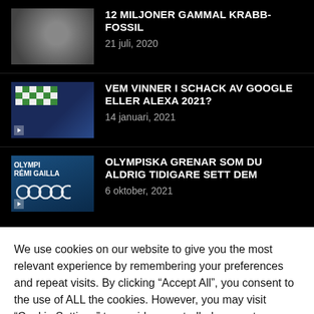12 MILJONER GAMMAL KRABB-FOSSIL
21 juli, 2020
VEM VINNER I SCHACK AV GOOGLE ELLER ALEXA 2021?
14 januari, 2021
OLYMPISKA GRENAR SOM DU ALDRIG TIDIGARE SETT DEM
6 oktober, 2021
We use cookies on our website to give you the most relevant experience by remembering your preferences and repeat visits. By clicking “Accept All”, you consent to the use of ALL the cookies. However, you may visit “Cookie Settings” to provide a controlled consent.